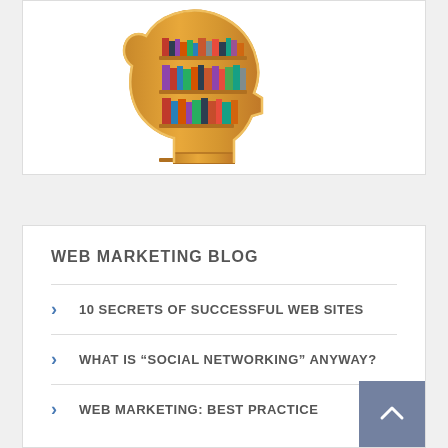[Figure (illustration): Wooden head-shaped bookshelf filled with books on multiple shelves]
WEB MARKETING BLOG
10 SECRETS OF SUCCESSFUL WEB SITES
WHAT IS “SOCIAL NETWORKING” ANYWAY?
WEB MARKETING: BEST PRACTICE